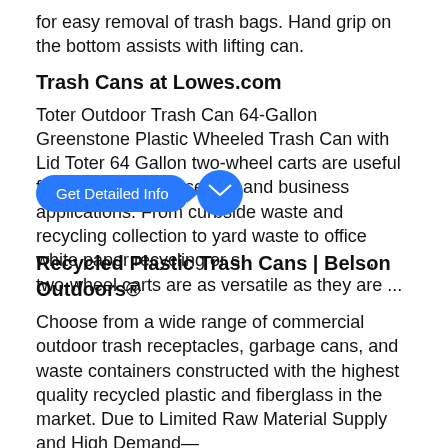for easy removal of trash bags. Hand grip on the bottom assists with lifting can.
Trash Cans at Lowes.com
Toter Outdoor Trash Can 64-Gallon Greenstone Plastic Wheeled Trash Can with Lid Toter 64 Gallon two-wheel carts are useful for a variety of household and business applications. From curbside waste and recycling collection to yard waste to office white paper recycling or s..., two-wheel carts are as versatile as they are ...
Recycled Plastic Trash Cans | Belson Outdoors®
Choose from a wide range of commercial outdoor trash receptacles, garbage cans, and waste containers constructed with the highest quality recycled plastic and fiberglass in the market. Due to Limited Raw Material Supply and High Demand—